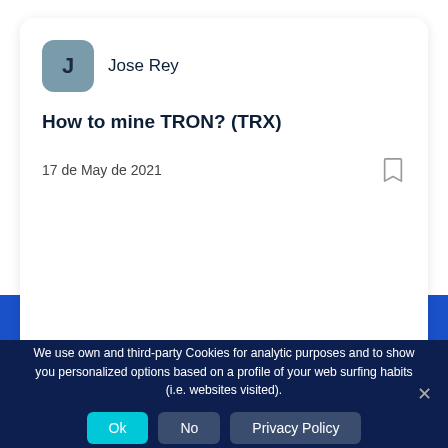J   Jose Rey
How to mine TRON? (TRX)
17 de May de 2021
We use own and third-party Cookies for analytic purposes and to show you personalized options based on a profile of your web surfing habits (i.e. websites visited).
Ok   No   Privacy Policy